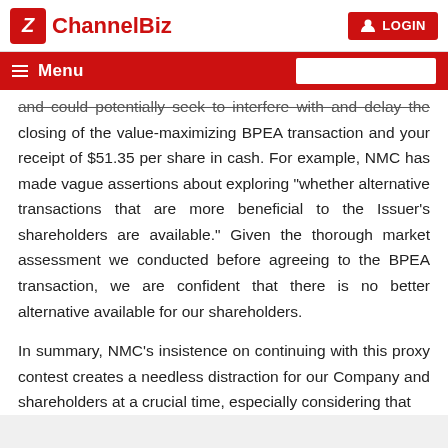ChannelBiz | LOGIN
and could potentially seek to interfere with and delay the closing of the value-maximizing BPEA transaction and your receipt of $51.35 per share in cash. For example, NMC has made vague assertions about exploring "whether alternative transactions that are more beneficial to the Issuer's shareholders are available." Given the thorough market assessment we conducted before agreeing to the BPEA transaction, we are confident that there is no better alternative available for our shareholders.

In summary, NMC's insistence on continuing with this proxy contest creates a needless distraction for our Company and shareholders at a crucial time, especially considering that